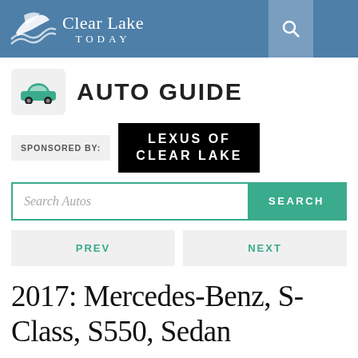Clear Lake TODAY
AUTO GUIDE
SPONSORED BY: LEXUS OF CLEAR LAKE
Search Autos
PREV
NEXT
2017: Mercedes-Benz, S-Class, S550, Sedan